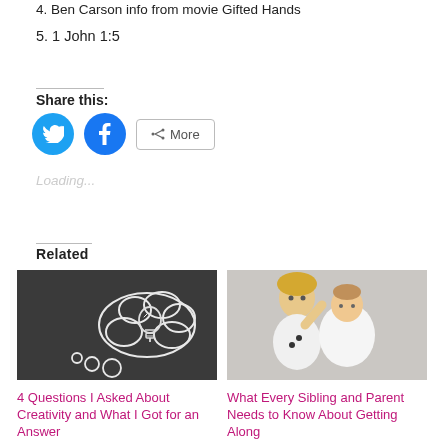4. Ben Carson info from movie Gifted Hands
5. 1 John 1:5
Share this:
Loading...
Related
[Figure (photo): Chalkboard with chalk drawing of a thought bubble containing a light bulb]
4 Questions I Asked About Creativity and What I Got for an Answer
[Figure (photo): Two young children, a baby and a toddler, lying on a grey fluffy surface, the toddler waving]
What Every Sibling and Parent Needs to Know About Getting Along